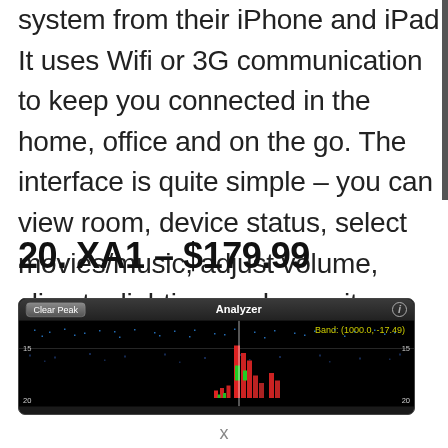system from their iPhone and iPad. It uses Wifi or 3G communication to keep you connected in the home, office and on the go. The interface is quite simple – you can view room, device status, select movies/music, adjust volume, climate, lighting, and security.
20. XA1 – $179.99
[Figure (screenshot): Screenshot of an audio analyzer app showing 'Analyzer' title bar with 'Clear Peak' button and info icon. The analyzer display shows frequency spectrum bars in red and green on a black background with a horizontal white reference line at -15 dB. A yellow band label reads 'Band: (1000.0, -17.49)'. Grid labels show '15' on left and right and '20' at the bottom corners.]